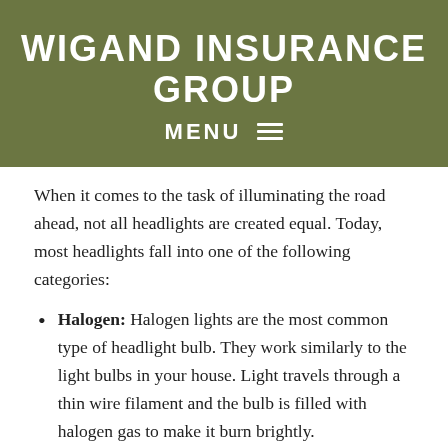WIGAND INSURANCE GROUP
MENU ☰
When it comes to the task of illuminating the road ahead, not all headlights are created equal. Today, most headlights fall into one of the following categories:
Halogen: Halogen lights are the most common type of headlight bulb. They work similarly to the light bulbs in your house. Light travels through a thin wire filament and the bulb is filled with halogen gas to make it burn brightly.